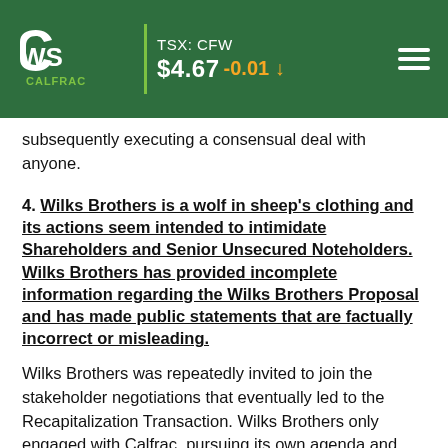CWS Calfrac | TSX: CFW $4.67 -0.01
subsequently executing a consensual deal with anyone.
4. Wilks Brothers is a wolf in sheep's clothing and its actions seem intended to intimidate Shareholders and Senior Unsecured Noteholders. Wilks Brothers has provided incomplete information regarding the Wilks Brothers Proposal and has made public statements that are factually incorrect or misleading.
Wilks Brothers was repeatedly invited to join the stakeholder negotiations that eventually led to the Recapitalization Transaction. Wilks Brothers only engaged with Calfrac, pursuing its own agenda and interests, after other investors had already